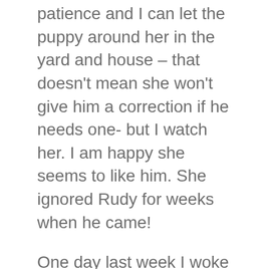patience and I can let the puppy around her in the yard and house – that doesn't mean she won't give him a correction if he needs one- but I watch her. I am happy she seems to like him. She ignored Rudy for weeks when he came!
One day last week I woke up to a different puppy. He was crazed- hyped up! I was like holy cow – who is this dog? It was like he was possessed from the beast within. I think I recall this stage from past puppies. I found the worse they got the more likely they needed a nap! And so that seemed to hold true. Today I woke to a calmer pup – though he does have a sassy side. He has the sit command down. And when in the crate or play area he is learning to self calm. All good things for future training. I know we are in